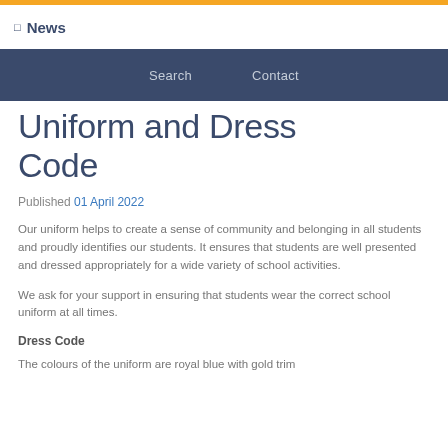☐ News
Search   Contact
Uniform and Dress Code
Published 01 April 2022
Our uniform helps to create a sense of community and belonging in all students and proudly identifies our students. It ensures that students are well presented and dressed appropriately for a wide variety of school activities.
We ask for your support in ensuring that students wear the correct school uniform at all times.
Dress Code
The colours of the uniform are royal blue with gold trim